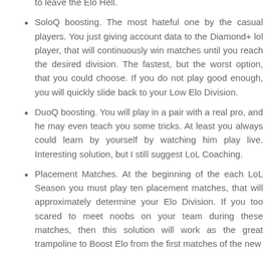to leave the Elo Hell.
SoloQ boosting. The most hateful one by the casual players. You just giving account data to the Diamond+ lol player, that will continuously win matches until you reach the desired division. The fastest, but the worst option, that you could choose. If you do not play good enough, you will quickly slide back to your Low Elo Division.
DuoQ boosting. You will play in a pair with a real pro, and he may even teach you some tricks. At least you always could learn by yourself by watching him play live. Interesting solution, but I still suggest LoL Coaching.
Placement Matches. At the beginning of the each LoL Season you must play ten placement matches, that will approximately determine your Elo Division. If you too scared to meet noobs on your team during these matches, then this solution will work as the great trampoline to Boost Elo from the first matches of the new season. But please note that right after...